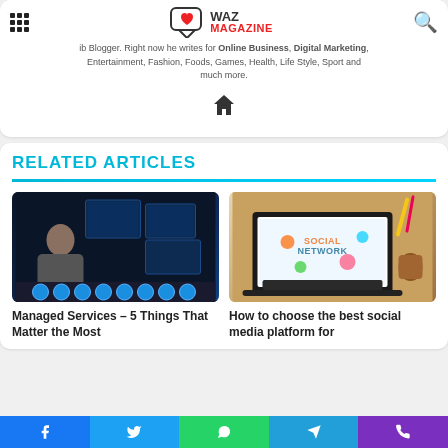WAZ MAGAZINE
ib Blogger. Right now he writes for Online Business, Digital Marketing, Entertainment, Fashion, Foods, Games, Health, Life Style, Sport and much more.
[Figure (illustration): Home icon]
RELATED ARTICLES
[Figure (photo): Woman sitting in front of multiple computer monitors in a dark server room with technology icons at the bottom]
Managed Services – 5 Things That Matter the Most
[Figure (photo): Laptop with Social Network concept diagram on screen, with colorful icons, person's hands on keyboard]
How to choose the best social media platform for
Facebook Twitter WhatsApp Telegram Phone